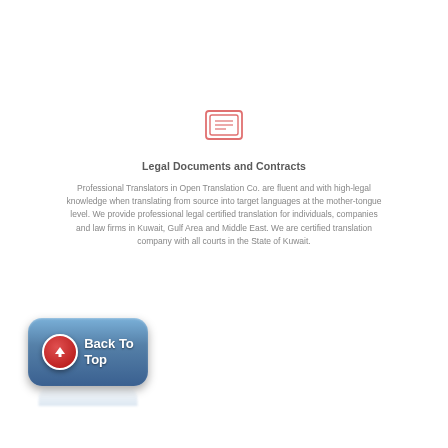[Figure (illustration): Red/pink outlined icon of a document/certificate with a seal or stamp, centered above the section title]
Legal Documents and Contracts
Professional Translators in Open Translation Co. are fluent and with high-legal knowledge when translating from source into target languages at the mother-tongue level. We provide professional legal certified translation for individuals, companies and law firms in Kuwait, Gulf Area and Middle East. We are certified translation company with all courts in the State of Kuwait.
[Figure (illustration): Blue rounded rectangle Back To Top button with a red circle containing an upward arrow icon on the left, and white bold text 'Back To Top' on the right, with a reflection below]